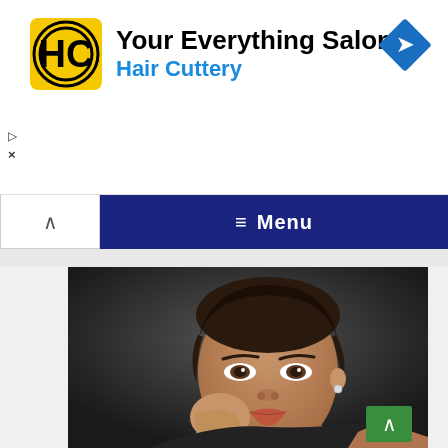[Figure (infographic): Hair Cuttery advertisement banner with yellow/black HC logo, text 'Your Everything Salon' and 'Hair Cuttery' in blue, and a blue diamond-shaped navigation arrow icon on the right]
▷
×
≡ Menu
[Figure (photo): Close-up portrait photo of a young woman with dark hair pulled back, wearing a small hoop earring and bracelet, resting her head on her hand, looking at camera with subtle smile, dark background]